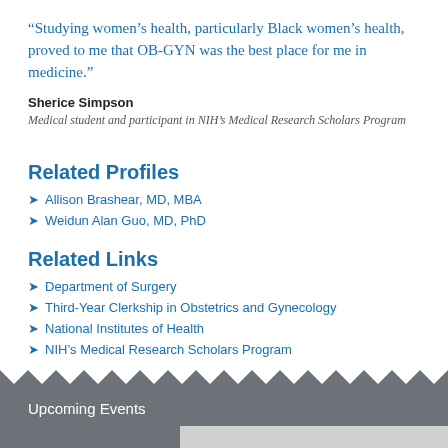“Studying women’s health, particularly Black women’s health, proved to me that OB-GYN was the best place for me in medicine.”
Sherice Simpson
Medical student and participant in NIH’s Medical Research Scholars Program
Related Profiles
Allison Brashear, MD, MBA
Weidun Alan Guo, MD, PhD
Related Links
Department of Surgery
Third-Year Clerkship in Obstetrics and Gynecology
National Institutes of Health
NIH’s Medical Research Scholars Program
Upcoming Events